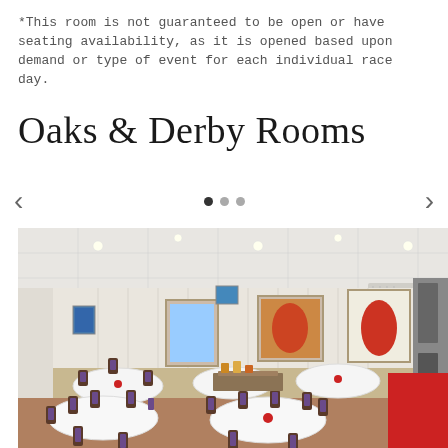*This room is not guaranteed to be open or have seating availability, as it is opened based upon demand or type of event for each individual race day.
Oaks & Derby Rooms
[Figure (photo): Interior of banquet/event room with round tables covered in white tablecloths, dark wood chairs with purple cushions, red carpet along the right wall, ceiling tiles with recessed lighting, and framed artwork on walls. The room is set up for a formal dining event.]